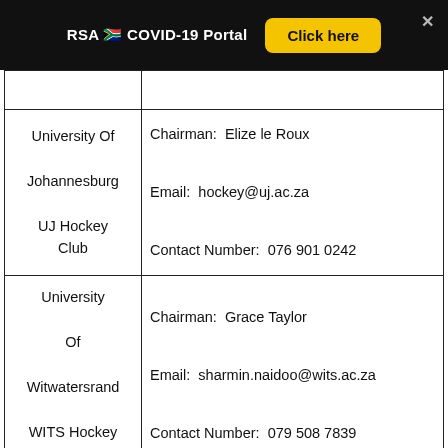RSA COVID-19 Portal  Click here
| Club | Contact Info |
| --- | --- |
| University Of Johannesburg UJ Hockey Club | Chairman: Elize le Roux
Email: hockey@uj.ac.za
Contact Number: 076 901 0242 |
| University Of Witwatersrand WITS Hockey Club | Chairman: Grace Taylor
Email: sharmin.naidoo@wits.ac.za
Contact Number: 079 508 7839 |